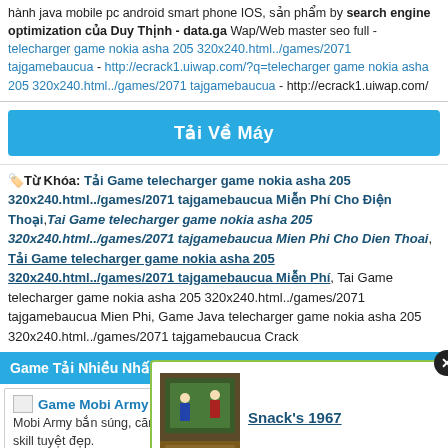hành java mobile pc android smart phone IOS, sản phẩm by search engine optimization của Duy Thịnh - data.ga Wap/Web master seo full - telecharger game nokia asha 205 320x240.html../games/2071 tajgamebaucua - http://ecrack1.uiwap.com/?q=telecharger game nokia asha 205 320x240.html../games/2071 tajgamebaucua - http://ecrack1.uiwap.com/
Tải Về Máy
Từ Khóa: Tải Game telecharger game nokia asha 205 320x240.html../games/2071 tajgamebaucua Miễn Phí Cho Điện Thoại, Tai Game telecharger game nokia asha 205 320x240.html../games/2071 tajgamebaucua Mien Phi Cho Dien Thoai, Tải Game telecharger game nokia asha 205 320x240.html../games/2071 tajgamebaucua Miễn Phí, Tai Game telecharger game nokia asha 205 320x240.html../games/2071 tajgamebaucua Mien Phi, Game Java telecharger game nokia asha 205 320x240.html../games/2071 tajgamebaucua Crack
Game Tải Nhiều Nhất
Game Mobi Army HD 239 - Anh Tài Tựa Gunbound
Mobi Army bắn súng, căn tọa độ tựa Gunbound -Gunny, đồ họa khủng, skill tuyệt đẹp.
Ga...
Snack's 1967